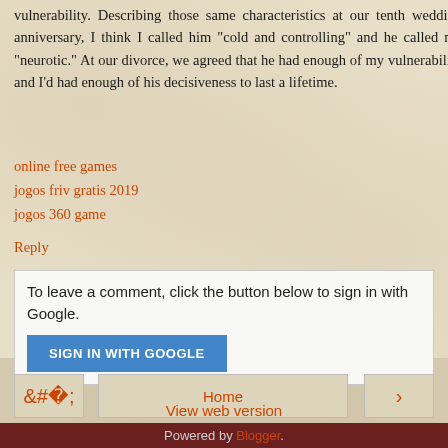vulnerability. Describing those same characteristics at our tenth wedding anniversary, I think I called him “cold and controlling” and he called me “neurotic.” At our divorce, we agreed that he had enough of my vulnerability and I’d had enough of his decisiveness to last a lifetime.
online free games
jogos friv gratis 2019
jogos 360 game
Reply
To leave a comment, click the button below to sign in with Google.
[Figure (other): SIGN IN WITH GOOGLE button (blue)]
Home
View web version
Powered by Blogger.